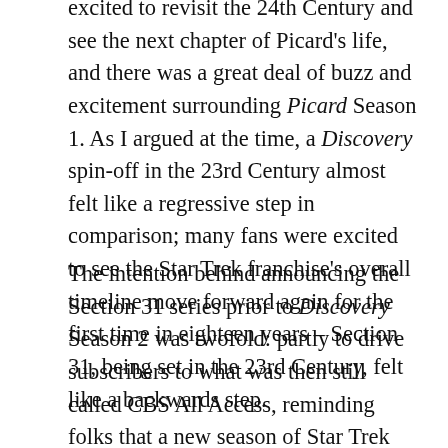excited to revisit the 24th Century and see the next chapter of Picard's life, and there was a great deal of buzz and excitement surrounding Picard Season 1. As I argued at the time, a Discovery spin-off in the 23rd Century almost felt like a regressive step in comparison; many fans were excited to see the Star Trek franchise's overall timeline move forward again for the first time in eighteen years – Section 31, being set in the 23rd Century, felt like a backwards step.
The intention behind announcing the Section 31 series prior to Discovery Season 2 was twofold: partly to drive subscribers to what was then still called CBS All Access, reminding folks that a new season of Star Trek was coming, but also to reaffirm the corporation's commitment to Star Trek as a brand and Discovery as a series in the